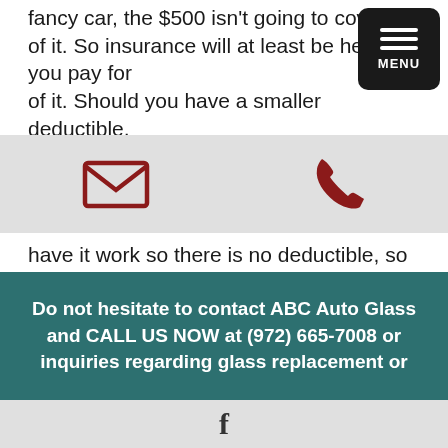fancy car, the $500 isn't going to cover all of it. So insurance will at least be helping you pay for of it. Should you have a smaller deductible,
[Figure (screenshot): Navigation menu button (hamburger icon) with MENU label in black rounded rectangle]
[Figure (screenshot): Email envelope icon and phone icon on grey icon bar]
have it work so there is no deductible, so insurance isn't going to pay for the broken windshield entirely. Call us today to see if your insurance will cover your windshield replacement.
« Previous Page    1    2
Do not hesitate to contact ABC Auto Glass and CALL US NOW at (972) 665-7008 or inquiries regarding glass replacement or
[Figure (logo): Facebook 'f' logo in bottom bar]